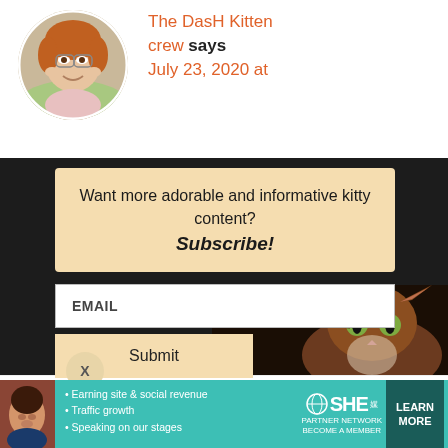[Figure (photo): Circular avatar photo of a smiling woman with glasses, reddish hair, hands near her face, outdoors background]
The DasH Kitten crew says
July 23, 2020 at
[Figure (infographic): Dark overlay popup with subscribe box containing text 'Want more adorable and informative kitty content? Subscribe!' with email input field and submit button, plus a cat photo of a brown tabby cat with green eyes on dark background]
Want more adorable and informative kitty content? Subscribe!
EMAIL
Submit
X
ard Flynn says
July 23, 2020 at
Powe
X
[Figure (infographic): SHE Partner Network advertisement banner with woman photo, bullet points about earning site & social revenue, traffic growth, speaking on our stages, SHE logo, and Learn More button]